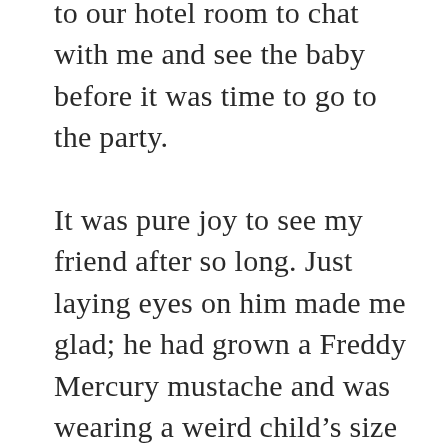to our hotel room to chat with me and see the baby before it was time to go to the party.

It was pure joy to see my friend after so long. Just laying eyes on him made me glad; he had grown a Freddy Mercury mustache and was wearing a weird child's size sweater and I loved every inch of him. Out of our mouths fl...